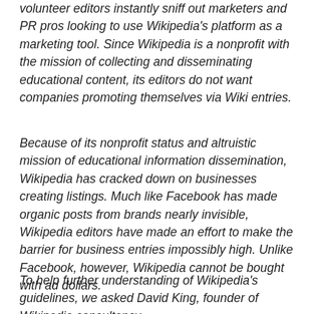volunteer editors instantly sniff out marketers and PR pros looking to use Wikipedia's platform as a marketing tool. Since Wikipedia is a nonprofit with the mission of collecting and disseminating educational content, its editors do not want companies promoting themselves via Wiki entries.
Because of its nonprofit status and altruistic mission of educational information dissemination, Wikipedia has cracked down on businesses creating listings. Much like Facebook has made organic posts from brands nearly invisible, Wikipedia editors have made an effort to make the barrier for business entries impossibly high. Unlike Facebook, however, Wikipedia cannot be bought with ad dollars.
To help further understanding of Wikipedia's guidelines, we asked David King, founder of Wikipedia consultancy